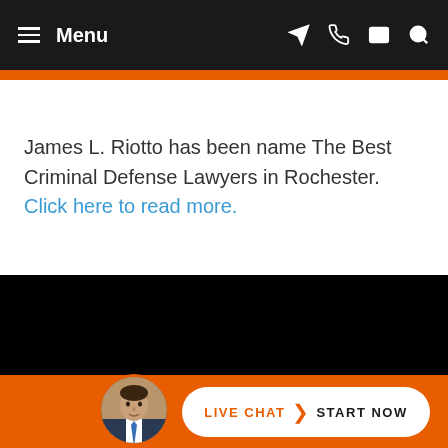Menu
James L. Riotto has been name The Best Criminal Defense Lawyers in Rochester. Click here to read more.
[Figure (screenshot): Black area representing a video or image section of the website]
[Figure (photo): Circular avatar photo of James L. Riotto in a suit with a live chat button reading LIVE CHAT START NOW on an orange background bar]